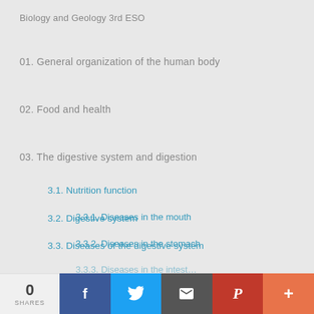Biology and Geology 3rd ESO
01. General organization of the human body
02. Food and health
03. The digestive system and digestion
3.1. Nutrition function
3.2. Digestive system
3.3. Diseases of the digestive system
3.3.1. Diseases in the mouth
3.3.2. Diseases in the stomach
3.3.3. Diseases in the intestine (partial)
0 SHARES | Facebook | Twitter | Email | Pinterest | More